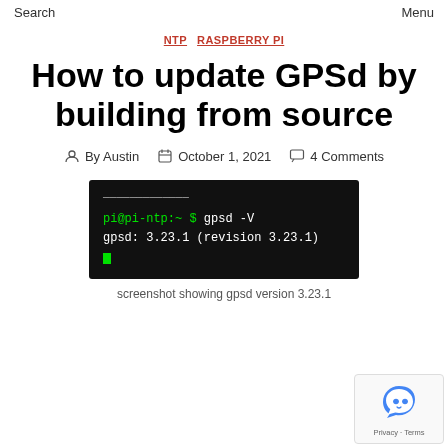Search   Menu
NTP   RASPBERRY PI
How to update GPSd by building from source
By Austin   October 1, 2021   4 Comments
[Figure (screenshot): Terminal screenshot showing: pi@pi-ntp:~ $ gpsd -V
gpsd: 3.23.1 (revision 3.23.1)]
screenshot showing gpsd version 3.23.1